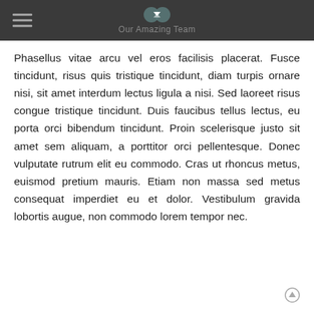Our Amazing Team
Phasellus vitae arcu vel eros facilisis placerat. Fusce tincidunt, risus quis tristique tincidunt, diam turpis ornare nisi, sit amet interdum lectus ligula a nisi. Sed laoreet risus congue tristique tincidunt. Duis faucibus tellus lectus, eu porta orci bibendum tincidunt. Proin scelerisque justo sit amet sem aliquam, a porttitor orci pellentesque. Donec vulputate rutrum elit eu commodo. Cras ut rhoncus metus, euismod pretium mauris. Etiam non massa sed metus consequat imperdiet eu et dolor. Vestibulum gravida lobortis augue, non commodo lorem tempor nec.